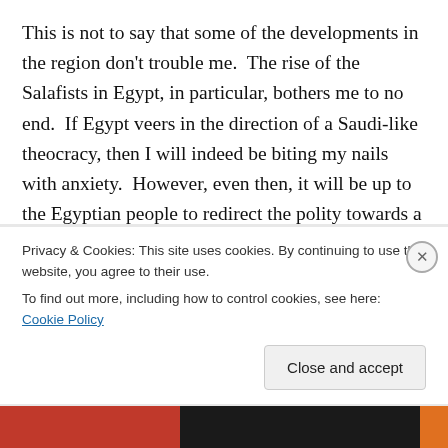This is not to say that some of the developments in the region don't trouble me.  The rise of the Salafists in Egypt, in particular, bothers me to no end.  If Egypt veers in the direction of a Saudi-like theocracy, then I will indeed be biting my nails with anxiety.  However, even then, it will be up to the Egyptian people to redirect the polity towards a flourishing democracy.  The burden is on the Egyptian citizens.  The same goes for all the other countries in the MENA region.  Of course, these will be long, hard struggles for freedoms and rights.  Let's go back to US history and remind ourselves that we also have gone
Privacy & Cookies: This site uses cookies. By continuing to use this website, you agree to their use.
To find out more, including how to control cookies, see here: Cookie Policy
Close and accept